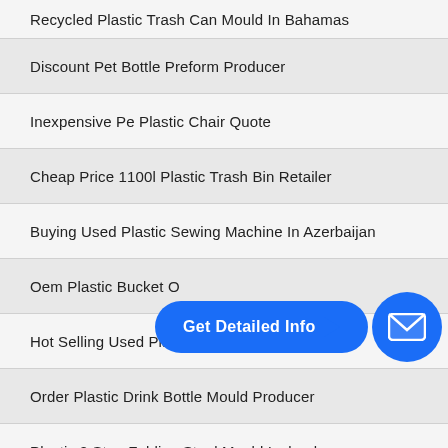Recycled Plastic Trash Can Mould In Bahamas
Discount Pet Bottle Preform Producer
Inexpensive Pe Plastic Chair Quote
Cheap Price 1100l Plastic Trash Bin Retailer
Buying Used Plastic Sewing Machine In Azerbaijan
Oem Plastic Bucket O...
Hot Selling Used Plastic Bucket Mould For Sale
Order Plastic Drink Bottle Mould Producer
Plastic 2 Step Folding Stool Mould Iceland
3d Injection Molding In Zimbabwe
[Figure (infographic): Blue rounded rectangle button labeled 'Get Detailed Info' with a right-pointing arrow and a blue circle icon showing an envelope/mail symbol]